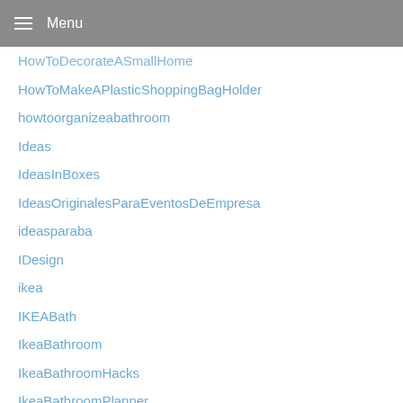Menu
HowToDecorateASmallHome
HowToMakeAPlasticShoppingBagHolder
howtoorganizeabathroom
Ideas
IdeasInBoxes
IdeasOriginalesParaEventosDeEmpresa
ideasparaba
IDesign
ikea
IKEABath
IkeaBathroom
IkeaBathroomHacks
IkeaBathroomPlanner
IkeaBathroomStorage
IkeaBathTowelsCanada
IkeaBatterien
IkeaCaliforniaKingBedFrame